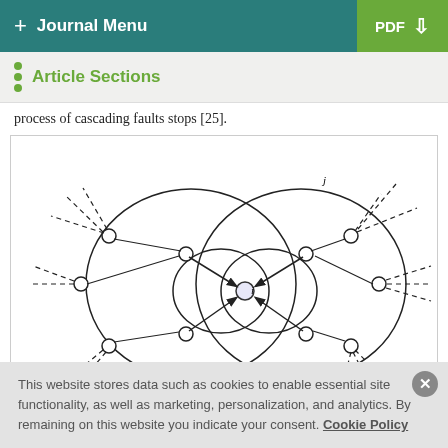+ Journal Menu | PDF ↓
Article Sections
process of cascading faults stops [25].
[Figure (network-graph): Network diagram showing cascading fault propagation. Central node i connected by large overlapping circles to surrounding nodes. Arrows indicate direction of fault propagation. Node j is labeled at upper right. Dashed lines extend outward from peripheral nodes representing external connections.]
This website stores data such as cookies to enable essential site functionality, as well as marketing, personalization, and analytics. By remaining on this website you indicate your consent. Cookie Policy